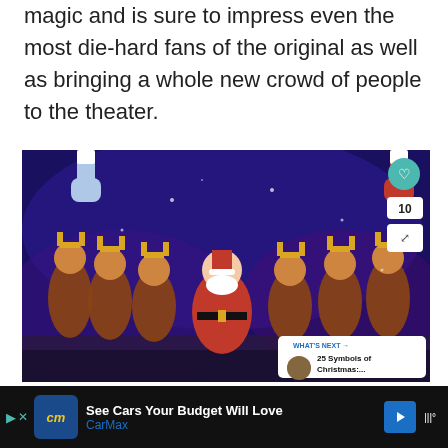magic and is sure to impress even the most die-hard fans of the original as well as bringing a whole new crowd of people to the theater.
[Figure (photo): theatrical stage performance photo showing performers dressed as reindeer alongside a Santa Claus character, lit in blue and purple stage lighting, with Christmas stockings and decorations visible in background. Overlay UI elements include heart button, share count (10), share icon, and a 'What's Next' card for '25 Symbols of Christmas:...']
See Cars Your Budget Will Love CarMax